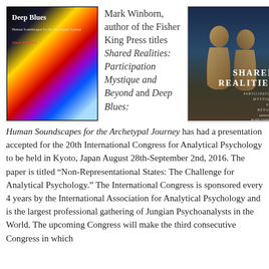[Figure (photo): Book cover of 'Deep Blues: Human Soundscapes for the Archetypal Journey' by Mark Winborn. Black background with colorful abstract swirling art, silhouette of a figure.]
Mark Winborn, author of the Fisher King Press titles Shared Realities: Participation Mystique and Beyond and Deep Blues:
[Figure (photo): Book cover of 'Shared Realities: Participation Mystique and Beyond' edited by Mark Winborn. Dark blue background with two golden abstract human figures facing each other.]
Human Soundscapes for the Archetypal Journey has had a presentation accepted for the 20th International Congress for Analytical Psychology to be held in Kyoto, Japan August 28th-September 2nd, 2016. The paper is titled “Non-Representational States: The Challenge for Analytical Psychology.” The International Congress is sponsored every 4 years by the International Association for Analytical Psychology and is the largest professional gathering of Jungian Psychoanalysts in the World. The upcoming Congress will make the third consecutive Congress in which